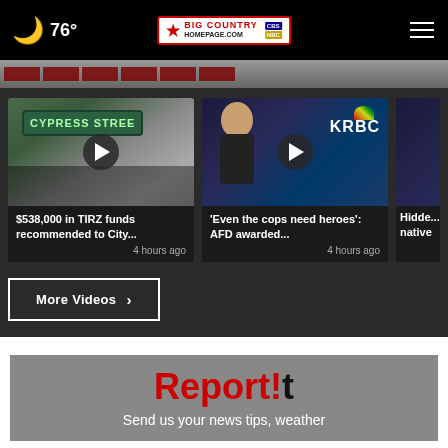76° Big Country Homepage – CBS NBC
[Figure (screenshot): Hero strip showing red/maroon bars at the top of the page]
[Figure (screenshot): Video thumbnail: Cypress Street sign, play button overlay]
$538,000 in TIRZ funds recommended to City...
4 hours ago
[Figure (screenshot): Video thumbnail: News anchor in studio with KRBC logo, play button overlay]
'Even the cops need heroes': AFD awarded...
4 hours ago
[Figure (screenshot): Partial video thumbnail (cropped)]
Hidde... native
More Videos ›
[Figure (logo): Report!t logo with tagline: Send us your news tips, weather]